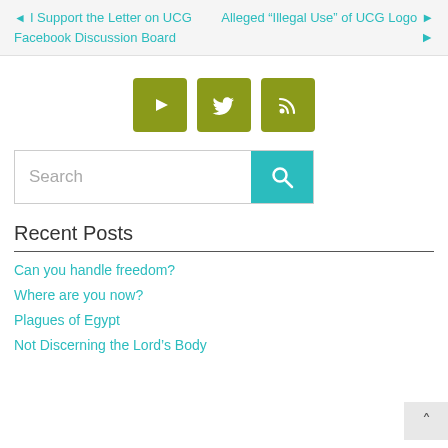◄ I Support the Letter on UCG | Alleged “Illegal Use” of UCG Logo Facebook Discussion Board ►
[Figure (other): Three olive/green square buttons with white icons: YouTube play button, Twitter bird, RSS feed icon]
Search (with teal search button)
Recent Posts
Can you handle freedom?
Where are you now?
Plagues of Egypt
Not Discerning the Lord’s Body